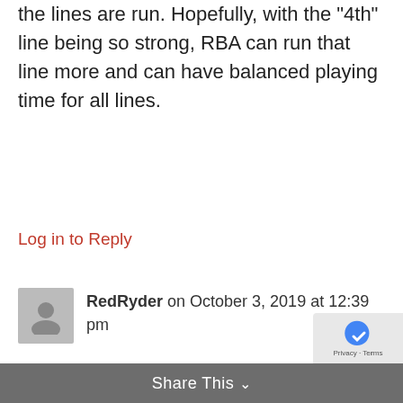the lines are run. Hopefully, with the “4th” line being so strong, RBA can run that line more and can have balanced playing time for all lines.
Log in to Reply
RedRyder on October 3, 2019 at 12:39 pm
IMO your long shot might not be off the mark. Wallmark has a history of being able to score at a higher level than he has so far in the NHL. Same goes for Foegle.
Log in to Reply
Share This